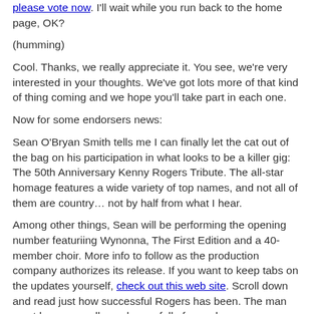please vote now. I'll wait while you run back to the home page, OK?
(humming)
Cool. Thanks, we really appreciate it. You see, we're very interested in your thoughts. We've got lots more of that kind of thing coming and we hope you'll take part in each one.
Now for some endorsers news:
Sean O'Bryan Smith tells me I can finally let the cat out of the bag on his participation in what looks to be a killer gig: The 50th Anniversary Kenny Rogers Tribute. The all-star homage features a wide variety of top names, and not all of them are country… not by half from what I hear.
Among other things, Sean will be performing the opening number featuriing Wynonna, The First Edition and a 40-member choir. More info to follow as the production company authorizes its release. If you want to keep tabs on the updates yourself, check out this web site. Scroll down and read just how successful Rogers has been. The man must have a small warehouse full of awards.
Traa checked in yesterday as well, but by email. He's down in South America with P.O.D. kicking off their tour